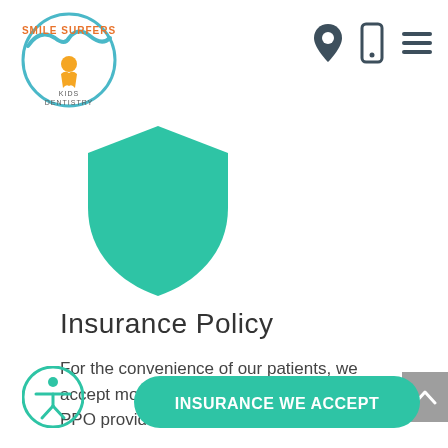[Figure (logo): Smile Surfers Kids Dentistry logo with wave and surfer figure in circular format]
[Figure (other): Navigation icons: map pin/location, mobile phone, hamburger menu]
[Figure (other): Large teal/green shield icon representing insurance protection]
Insurance Policy
For the convenience of our patients, we accept most major insurance plans, and are PPO providers for several carriers.
[Figure (other): Teal rounded button labeled INSURANCE WE ACCEPT]
[Figure (other): Circular accessibility icon bottom left]
[Figure (other): Gray scroll-to-top button with chevron on right side]